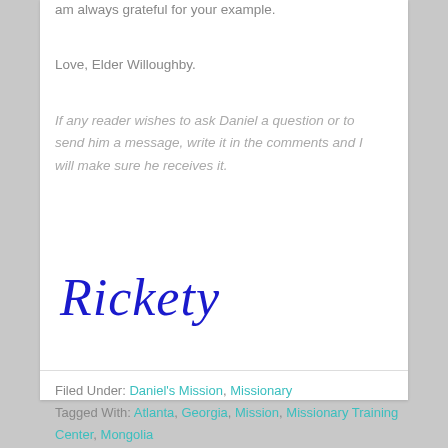am always grateful for your example.
Love, Elder Willoughby.
If any reader wishes to ask Daniel a question or to send him a message, write it in the comments and I will make sure he receives it.
[Figure (illustration): Handwritten cursive signature reading 'Rickety' in blue ink]
Filed Under: Daniel's Mission, Missionary
Tagged With: Atlanta, Georgia, Mission, Missionary Training Center, Mongolia